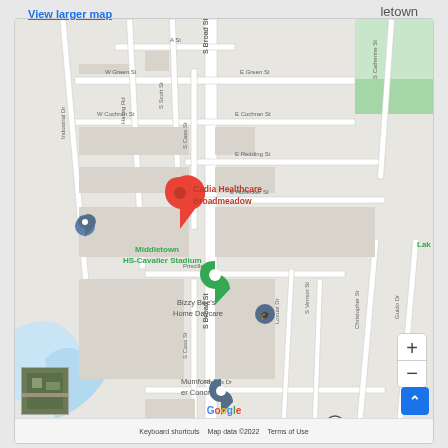View larger map
[Figure (map): Google Map showing Cadia Healthcare Broadmeadow location in Middletown, with surrounding streets including S Broad St, S Cass St, E Green St, W Green St, W Cochran St, E Cochran St, E Redding St, E Hoffecker St, Priscilla St, Phillips Dr, Industrial Dr, Haveg Rd, S Scott St, A St, S Catherine St, S Vernon St, Locust Dr, Christopher St, Guido Dr. Notable landmarks: Middletown HS-Cavalier Stadium, Bizzy Bee's Home Daycare, Mumford & er Concrete. Red pin marks Cadia Healthcare Broadmeadow. Green pin marks Middletown HS-Cavalier Stadium. Blue pin marks another location. Map data 2022 Google.]